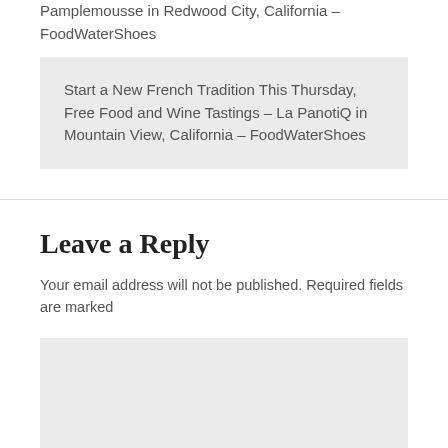Pamplemousse in Redwood City, California – FoodWaterShoes
Start a New French Tradition This Thursday, Free Food and Wine Tastings – La PanotiQ in Mountain View, California – FoodWaterShoes
Leave a Reply
Your email address will not be published. Required fields are marked